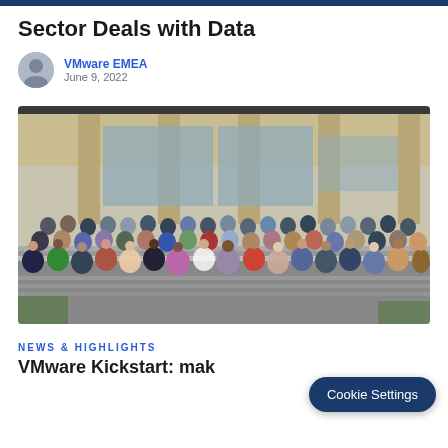Sector Deals with Data
VMware EMEA
June 9, 2022
[Figure (photo): Large group photo of VMware employees posing in front of a modern building with large columns and glass facade, taken outdoors on steps.]
News & Highlights
VMware Kickstart: mak